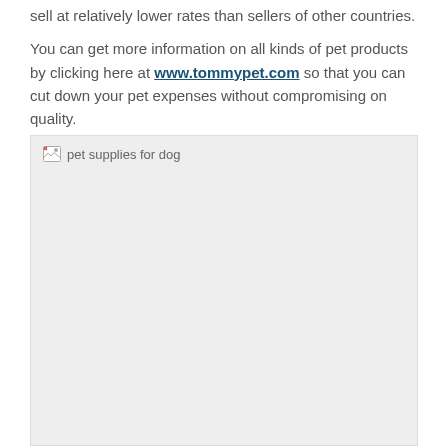sell at relatively lower rates than sellers of other countries.

You can get more information on all kinds of pet products by clicking here at www.tommypet.com so that you can cut down your pet expenses without compromising on quality.
[Figure (photo): Placeholder image labeled 'pet supplies for dog' shown as a grey rectangle with broken image icon and alt text]